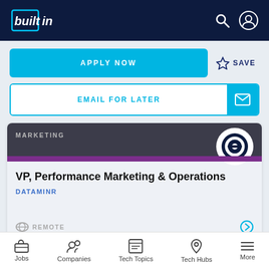[Figure (screenshot): Built In website navigation bar with logo, search icon, and user icon on dark navy background]
APPLY NOW
SAVE
EMAIL FOR LATER
MARKETING
VP, Performance Marketing & Operations
DATAMINR
REMOTE
Jobs   Companies   Tech Topics   Tech Hubs   More